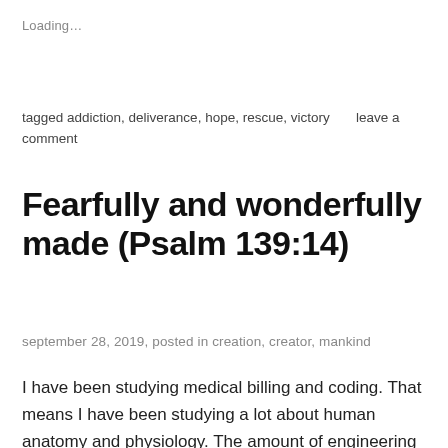Loading…
tagged addiction, deliverance, hope, rescue, victory     leave a comment
Fearfully and wonderfully made (Psalm 139:14)
september 28, 2019, posted in creation, creator, mankind
I have been studying medical billing and coding. That means I have been studying a lot about human anatomy and physiology. The amount of engineering alone that God has put into our design boggles the mind. There are so many systems and organs that are